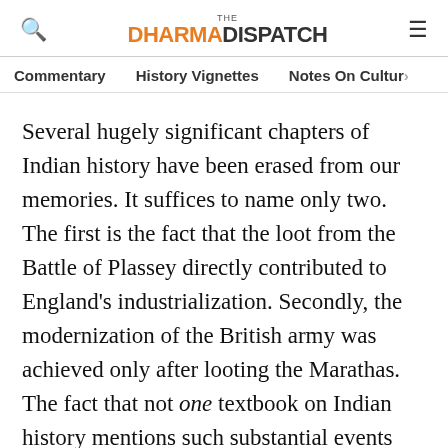THE DHARMA DISPATCH
Commentary
History Vignettes
Notes On Culture
Several hugely significant chapters of Indian history have been erased from our memories. It suffices to name only two. The first is the fact that the loot from the Battle of Plassey directly contributed to England's industrialization. Secondly, the modernization of the British army was achieved only after looting the Marathas. The fact that not one textbook on Indian history mentions such substantial events and their impact on India and Indians is nothing short of amazing.
Neither is this phenomenon restricted to India. It is the standard template of every country that has been